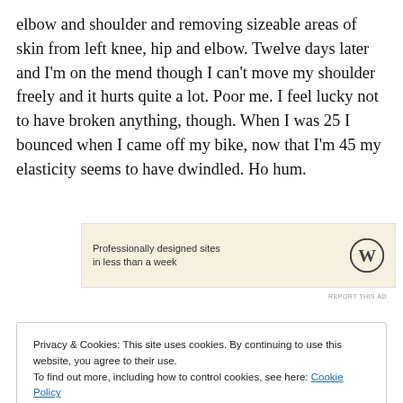elbow and shoulder and removing sizeable areas of skin from left knee, hip and elbow. Twelve days later and I'm on the mend though I can't move my shoulder freely and it hurts quite a lot. Poor me. I feel lucky not to have broken anything, though. When I was 25 I bounced when I came off my bike, now that I'm 45 my elasticity seems to have dwindled. Ho hum.
[Figure (other): WordPress advertisement banner: 'Professionally designed sites in less than a week' with WordPress logo]
Privacy & Cookies: This site uses cookies. By continuing to use this website, you agree to their use.
To find out more, including how to control cookies, see here: Cookie Policy
Close and accept